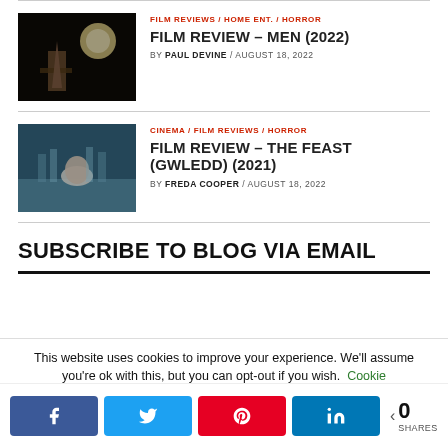[Figure (photo): Dark scene from film Men (2022)]
FILM REVIEWS / HOME ENT. / HORROR
FILM REVIEW – MEN (2022)
BY PAUL DEVINE / AUGUST 18, 2022
[Figure (photo): Scene from The Feast (Gwledd) (2021) with woman at table]
CINEMA / FILM REVIEWS / HORROR
FILM REVIEW – THE FEAST (GWLEDD) (2021)
BY FREDA COOPER / AUGUST 18, 2022
SUBSCRIBE TO BLOG VIA EMAIL
This website uses cookies to improve your experience. We'll assume you're ok with this, but you can opt-out if you wish. Cookie
0 SHARES